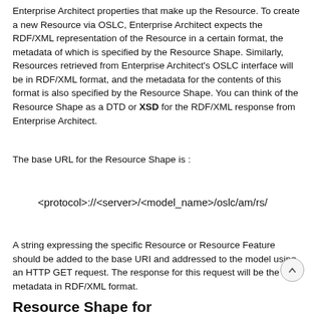Enterprise Architect properties that make up the Resource. To create a new Resource via OSLC, Enterprise Architect expects the RDF/XML representation of the Resource in a certain format, the metadata of which is specified by the Resource Shape. Similarly, Resources retrieved from Enterprise Architect's OSLC interface will be in RDF/XML format, and the metadata for the contents of this format is also specified by the Resource Shape. You can think of the Resource Shape as a DTD or XSD for the RDF/XML response from Enterprise Architect.
The base URL for the Resource Shape is :
<protocol>://<server>/<model_name>/oslc/am/rs/
A string expressing the specific Resource or Resource Feature should be added to the base URI and addressed to the model using an HTTP GET request. The response for this request will be the metadata in RDF/XML format.
Resource Shape for